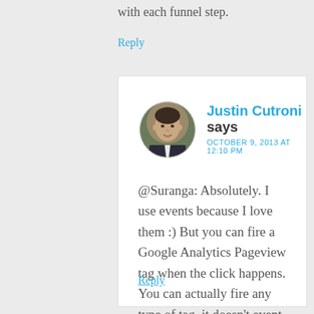with each funnel step.
Reply
[Figure (photo): Round avatar photo of Justin Cutroni, a man in a suit, dark hair]
Justin Cutroni says
OCTOBER 9, 2013 AT 12:10 PM
@Suranga: Absolutely. I use events because I love them :) But you can fire a Google Analytics Pageview tag when the click happens. You can actually fire any type of tag, it doesn't event need to be Google Analytics.
Reply